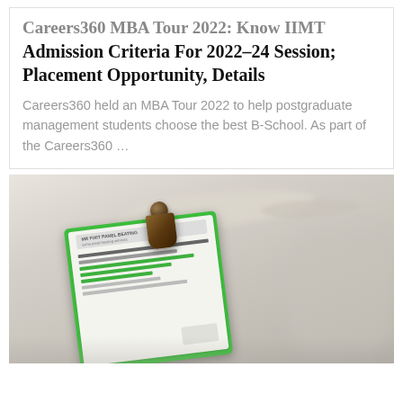Careers360 MBA Tour 2022: Know IIMT Admission Criteria For 2022-24 Session; Placement Opportunity, Details
Careers360 held an MBA Tour 2022 to help postgraduate management students choose the best B-School. As part of the Careers360 ...
[Figure (photo): Photo of a green clipboard with a brown metal binder clip holding a document with text and green bars, placed on a light blurred background]